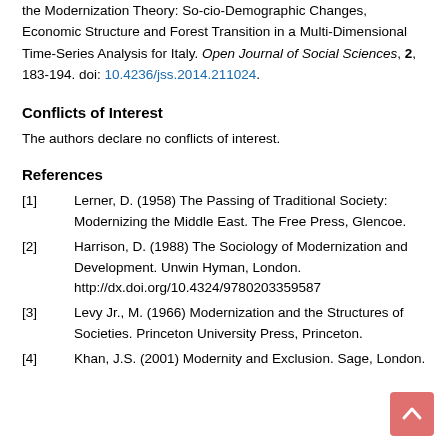the Modernization Theory: So-cio-Demographic Changes, Economic Structure and Forest Transition in a Multi-Dimensional Time-Series Analysis for Italy. Open Journal of Social Sciences, 2, 183-194. doi: 10.4236/jss.2014.211024.
Conflicts of Interest
The authors declare no conflicts of interest.
References
[1] Lerner, D. (1958) The Passing of Traditional Society: Modernizing the Middle East. The Free Press, Glencoe.
[2] Harrison, D. (1988) The Sociology of Modernization and Development. Unwin Hyman, London. http://dx.doi.org/10.4324/9780203359587
[3] Levy Jr., M. (1966) Modernization and the Structures of Societies. Princeton University Press, Princeton.
[4] Khan, J.S. (2001) Modernity and Exclusion. Sage, London.